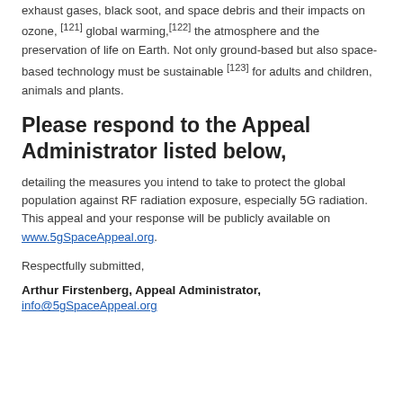exhaust gases, black soot, and space debris and their impacts on ozone, [121] global warming, [122] the atmosphere and the preservation of life on Earth. Not only ground-based but also space-based technology must be sustainable [123] for adults and children, animals and plants.
Please respond to the Appeal Administrator listed below,
detailing the measures you intend to take to protect the global population against RF radiation exposure, especially 5G radiation. This appeal and your response will be publicly available on www.5gSpaceAppeal.org.
Respectfully submitted,
Arthur Firstenberg, Appeal Administrator,
info@5gSpaceAppeal.org